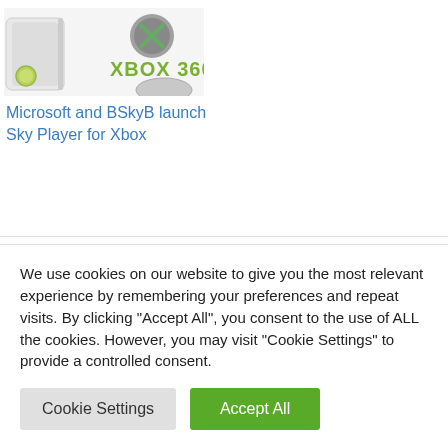[Figure (photo): Xbox 360 console and controller product image with Xbox 360 logo in green and grey]
Microsoft and BSkyB launch Sky Player for Xbox
Tagged  Microsoft  Sky TV  Xbox 360
We use cookies on our website to give you the most relevant experience by remembering your preferences and repeat visits. By clicking "Accept All", you consent to the use of ALL the cookies. However, you may visit "Cookie Settings" to provide a controlled consent.
Cookie Settings  Accept All